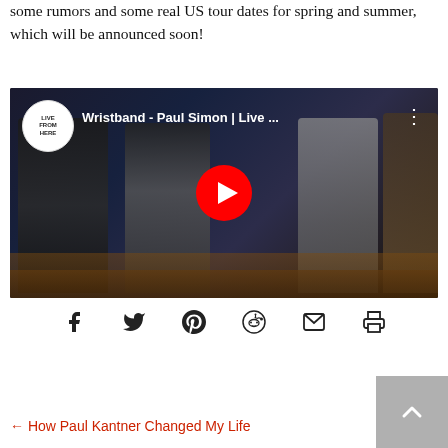some rumors and some real US tour dates for spring and summer, which will be announced soon!
[Figure (screenshot): YouTube video embed thumbnail showing 'Wristband - Paul Simon | Live ...' with musicians performing on stage. Red YouTube play button in center. Live From Here logo in top left circle.]
[Figure (infographic): Social sharing icons row: Facebook, Twitter, Pinterest, Reddit, Email, Print]
← How Paul Kantner Changed My Life